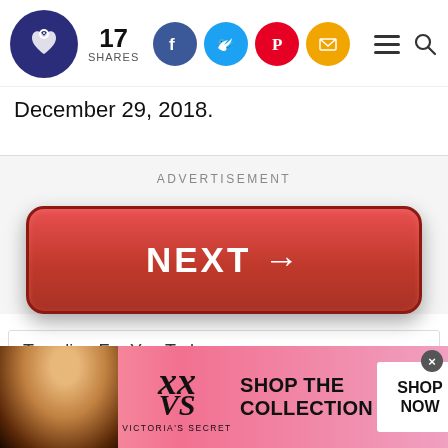17 SHARES — social share bar with Facebook, Twitter, Pinterest, Email icons, hamburger menu, search icon
December 29, 2018.
ADVERTISEMENT
[Figure (other): Large red rounded button with bold white text 'NEXT →']
Trending For You Today
[Figure (other): Victoria's Secret advertisement banner with model, VS logo, 'SHOP THE COLLECTION' text, and 'SHOP NOW' button. Close (×) button in top right.]